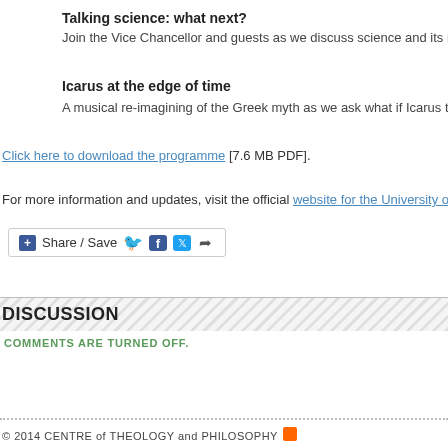Talking science: what next?
Join the Vice Chancellor and guests as we discuss science and its impact on s…
Icarus at the edge of time
A musical re-imagining of the Greek myth as we ask what if Icarus travelled int…
Click here to download the programme [7.6 MB PDF].
For more information and updates, visit the official website for the University of Camb…
[Figure (other): Share/Save social media button widget with Facebook, Twitter and share icons]
DISCUSSION
COMMENTS ARE TURNED OFF.
© 2014 CENTRE of THEOLOGY and PHILOSOPHY